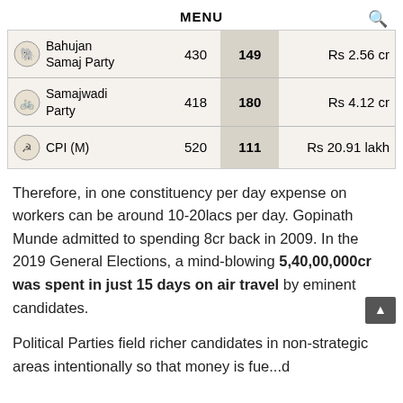MENU
| Party | Candidates | Winners | Avg Expenditure |
| --- | --- | --- | --- |
| Bahujan Samaj Party | 430 | 149 | Rs 2.56 cr |
| Samajwadi Party | 418 | 180 | Rs 4.12 cr |
| CPI (M) | 520 | 111 | Rs 20.91 lakh |
Therefore, in one constituency per day expense on workers can be around 10-20lacs per day. Gopinath Munde admitted to spending 8cr back in 2009. In the 2019 General Elections, a mind-blowing 5,40,00,000cr was spent in just 15 days on air travel by eminent candidates.
Political Parties field richer candidates in non-strategic areas intentionally so that money is fuc...d